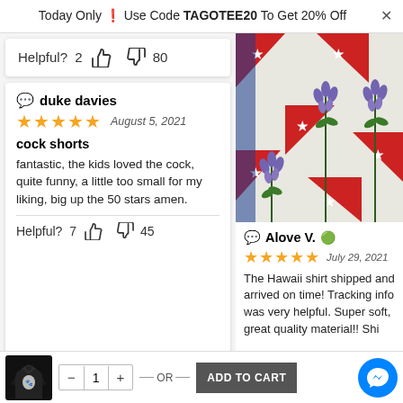Today Only 🔥 Use Code TAGOTEE20 To Get 20% Off
Helpful? 2 👍 👎 80
duke davies
★★★★★ August 5, 2021
cock shorts
fantastic, the kids loved the cock, quite funny, a little too small for my liking, big up the 50 stars amen.
Helpful? 7 👍 👎 45
[Figure (photo): Floral Hawaiian shorts with Texas state flag pattern and bluebonnet flowers, laid flat on a white surface]
Alove V. ✅
★★★★★ July 29, 2021
The Hawaii shirt shipped and arrived on time! Tracking info was very helpful. Super soft, great quality material!! Shi...
[Figure (photo): Black hoodie sweatshirt with white graphic print]
- 1 + — OR — ADD TO CART